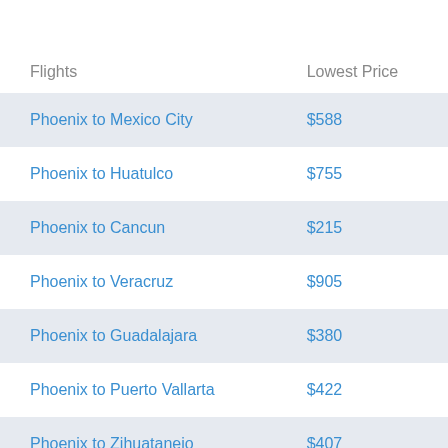| Flights | Lowest Price |
| --- | --- |
| Phoenix to Mexico City | $588 |
| Phoenix to Huatulco | $755 |
| Phoenix to Cancun | $215 |
| Phoenix to Veracruz | $905 |
| Phoenix to Guadalajara | $380 |
| Phoenix to Puerto Vallarta | $422 |
| Phoenix to Zihuatanejo | $407 |